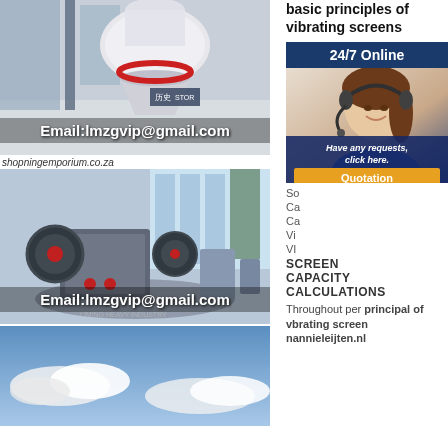[Figure (photo): Industrial cone crusher machine in a large hall with glass windows and Chinese text sign. Email:lmzgvip@gmail.com overlaid at bottom.]
shopningemporium.co.za
[Figure (photo): Industrial jaw crusher machine displayed on a turntable in a large bright exhibition hall. Email:lmzgvip@gmail.com overlaid at bottom.]
[Figure (photo): Blue sky with clouds, partial view.]
basic principles of vibrating screens
[Figure (photo): Customer service agent woman with headset. 24/7 Online banner. Have any requests, click here. Quotation button.]
So
Ca
Ca
Vi
VI
SCREEN CAPACITY CALCULATIONS
Throughout per principal of vbrating screen nannieleijten.nl